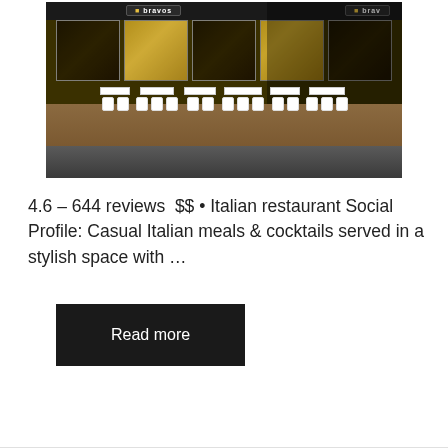[Figure (photo): Nighttime exterior photo of a restaurant called Bravos, showing outdoor seating with white ornate chairs, tables on a sidewalk, and illuminated storefront windows with yellow lighting.]
4.6 – 644 reviews  $$ • Italian restaurant Social Profile: Casual Italian meals & cocktails served in a stylish space with …
Read more